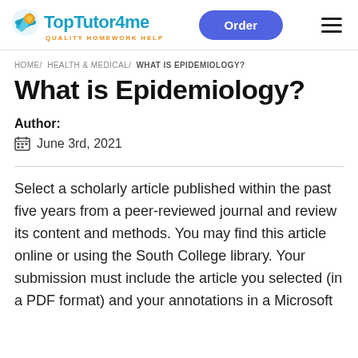[Figure (logo): TopTutor4me logo with orange/blue globe icon and tagline QUALITY HOMEWORK HELP]
Order
HOME/ HEALTH & MEDICAL/ WHAT IS EPIDEMIOLOGY?
What is Epidemiology?
Author:
June 3rd, 2021
Select a scholarly article published within the past five years from a peer-reviewed journal and review its content and methods. You may find this article online or using the South College library. Your submission must include the article you selected (in a PDF format) and your annotations in a Microsoft